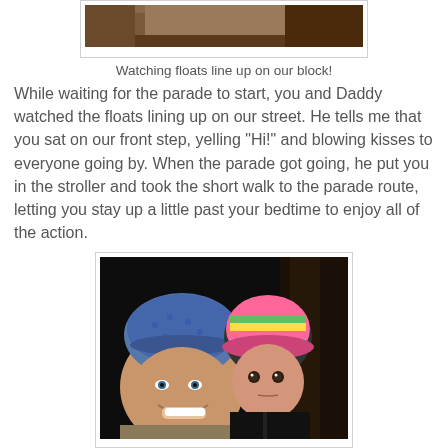[Figure (photo): Top portion of a photo showing what appears to be a wooden surface or floor in brown tones, cropped at the top of the page]
Watching floats line up on our block!
While waiting for the parade to start, you and Daddy watched the floats lining up on our street. He tells me that you sat on our front step, yelling "Hi!" and blowing kisses to everyone going by. When the parade got going, he put you in the stroller and took the short walk to the parade route, letting you stay up a little past your bedtime to enjoy all of the action.
[Figure (photo): A man wearing a blue bandana on his head smiling next to a young toddler/baby wearing a colorful striped hat, photographed at night]